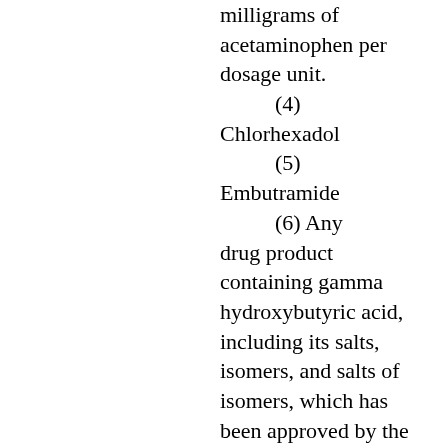milligrams of acetaminophen per dosage unit.
(4) Chlorhexadol
(5) Embutramide
(6) Any drug product containing gamma hydroxybutyric acid, including its salts, isomers, and salts of isomers, which has been approved by the federal Food and Drug Administration.
(7) Ketamine, its salts, isomers, and salts of isomers
(8) Lysergic acid